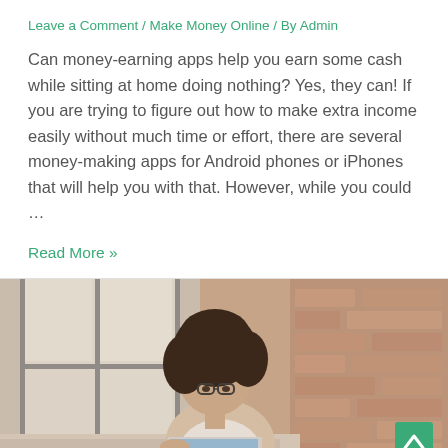Leave a Comment / Make Money Online / By Admin
Can money-earning apps help you earn some cash while sitting at home doing nothing? Yes, they can! If you are trying to figure out how to make extra income easily without much time or effort, there are several money-making apps for Android phones or iPhones that will help you with that. However, while you could …
Read More »
[Figure (photo): Woman with curly hair and glasses sitting on a couch looking at a laptop, with a brick wall background and window light]